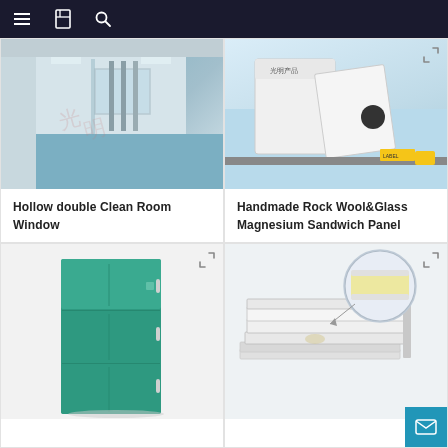Navigation bar with menu, bookmark, and search icons
[Figure (photo): Cleanroom interior with glass partitions, industrial piping visible through windows, blue epoxy floor]
Hollow double Clean Room Window
[Figure (photo): Handmade Rock Wool and Glass Magnesium Sandwich Panel product on light blue surface with sample pieces and an elongated strip]
Handmade Rock Wool&Glass Magnesium Sandwich Panel
[Figure (photo): Teal/green tall cabinet unit with multiple compartment doors]
[Figure (photo): White sandwich panel with foam core cross-section detail shown in zoomed circle inset, panel partially stacked]
[Figure (other): Email contact button in teal/blue at bottom right]